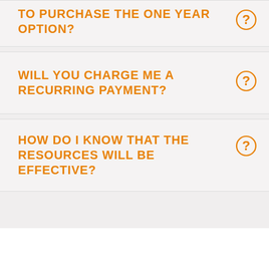TO PURCHASE THE ONE YEAR OPTION?
WILL YOU CHARGE ME A RECURRING PAYMENT?
HOW DO I KNOW THAT THE RESOURCES WILL BE EFFECTIVE?